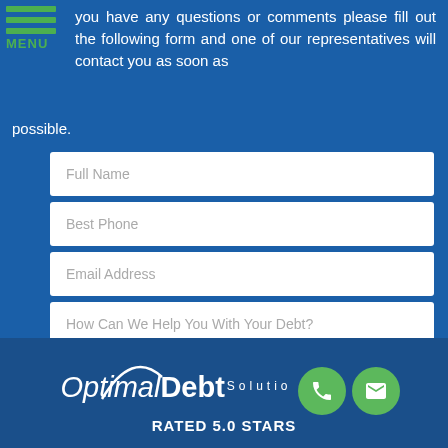you have any questions or comments please fill out the following form and one of our representatives will contact you as soon as possible.
Full Name
Best Phone
Email Address
How Can We Help You With Your Debt?
SUBMIT MY REQUEST
[Figure (logo): OptimalDebt Solutions logo in white italic text with a green phone icon and green email icon. Below shows RATED 5.0 STARS.]
RATED 5.0 STARS